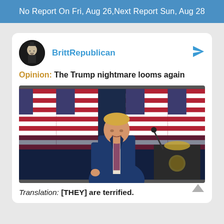No Report On Fri, Aug 26,Next Report Sun, Aug 28
BrittRepublican
Opinion: The Trump nightmare looms again
[Figure (photo): Person in blue suit speaking at a podium with multiple American flags in the background]
Translation: [THEY] are terrified.